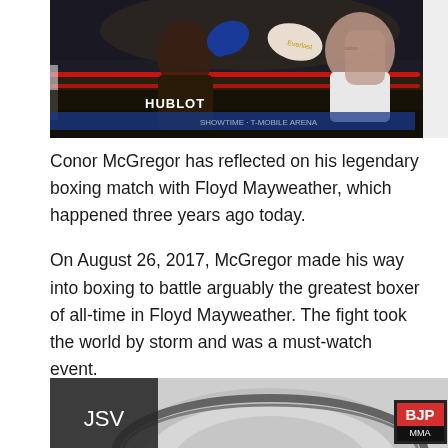[Figure (photo): Boxing match photo showing two fighters in a ring. One fighter wearing dark shorts with HUBLOT sponsorship logo, throwing a punch with blue gloves. The other fighter (with tattoos) wearing white shorts and white Everlast gloves. Red ropes visible in background with crowd.]
Conor McGregor has reflected on his legendary boxing match with Floyd Mayweather, which happened three years ago today.
On August 26, 2017, McGregor made his way into boxing to battle arguably the greatest boxer of all-time in Floyd Mayweather. The fight took the world by storm and was a must-watch event.
[Figure (photo): Bottom partial image showing a boxing/MMA championship belt with JSV label on left side and BJP logo on bottom right.]